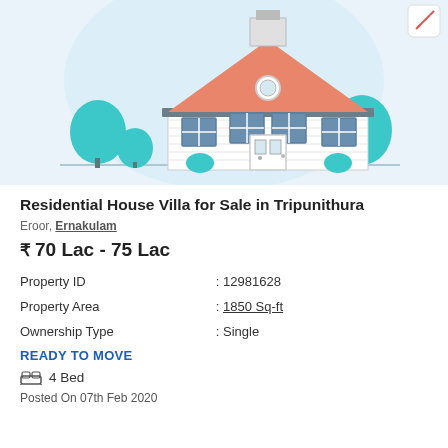[Figure (illustration): Illustrated residential house/villa with orange roof, white siding, multiple windows, front door, and teal trees on either side against a light blue background]
Residential House Villa for Sale in Tripunithura
Eroor, Ernakulam
₹ 70 Lac - 75 Lac
| Property | Value |
| --- | --- |
| Property ID | : 12981628 |
| Property Area | : 1850 Sq-ft |
| Ownership Type | : Single |
READY TO MOVE
4 Bed
Posted On 07th Feb 2020